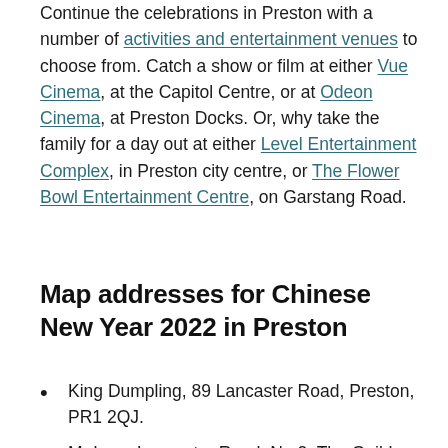Continue the celebrations in Preston with a number of activities and entertainment venues to choose from. Catch a show or film at either Vue Cinema, at the Capitol Centre, or at Odeon Cinema, at Preston Docks. Or, why take the family for a day out at either Level Entertainment Complex, in Preston city centre, or The Flower Bowl Entertainment Centre, on Garstang Road.
Map addresses for Chinese New Year 2022 in Preston
King Dumpling, 89 Lancaster Road, Preston, PR1 2QJ.
Mr Lam, Lancaster Road, No.2, The Guild Hall, Lancaster Road, Preston, PR1 1HT